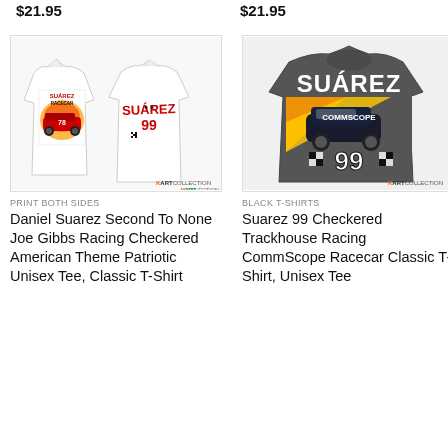$21.95
$21.95
[Figure (photo): White t-shirt with Daniel Suarez SUAREZ 99 NASCAR racing graphic, shown front and back, with KART COLLECTION logo]
[Figure (photo): Dark grey t-shirt with SUAREZ text and #99 Trackhouse Racing CommScope racecar graphic, with KART COLLECTION logo]
PRINT BOTH SIDES
BLACK T-SHIRTS
Daniel Suarez Second To None Joe Gibbs Racing Checkered American Theme Patriotic Unisex Tee, Classic T-Shirt
Suarez 99 Checkered Trackhouse Racing CommScope Racecar Classic T-Shirt, Unisex Tee